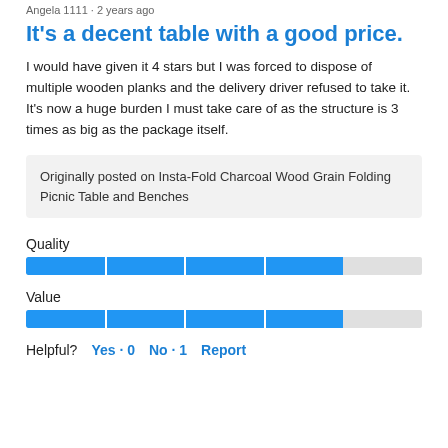Angela 1111 · 2 years ago
It's a decent table with a good price.
I would have given it 4 stars but I was forced to dispose of multiple wooden planks and the delivery driver refused to take it. It's now a huge burden I must take care of as the structure is 3 times as big as the package itself.
Originally posted on Insta-Fold Charcoal Wood Grain Folding Picnic Table and Benches
[Figure (other): Quality rating bar approximately 4/5 filled with blue]
[Figure (other): Value rating bar approximately 4/5 filled with blue]
Helpful?  Yes · 0   No · 1   Report